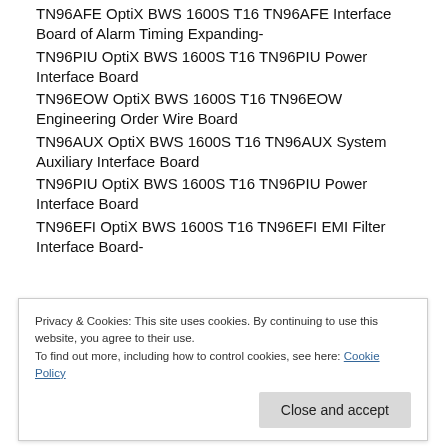TN96AFE OptiX BWS 1600S T16 TN96AFE Interface Board of Alarm Timing Expanding-
TN96PIU OptiX BWS 1600S T16 TN96PIU Power Interface Board
TN96EOW OptiX BWS 1600S T16 TN96EOW Engineering Order Wire Board
TN96AUX OptiX BWS 1600S T16 TN96AUX System Auxiliary Interface Board
TN96PIU OptiX BWS 1600S T16 TN96PIU Power Interface Board
TN96EFI OptiX BWS 1600S T16 TN96EFI EMI Filter Interface Board-
Privacy & Cookies: This site uses cookies. By continuing to use this website, you agree to their use.
To find out more, including how to control cookies, see here: Cookie Policy
Processing Board